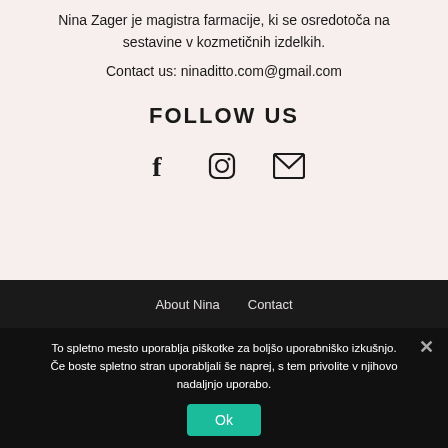Nina Zager je magistra farmacije, ki se osredotoča na sestavine v kozmetičnih izdelkih.
Contact us: ninaditto.com@gmail.com
FOLLOW US
[Figure (infographic): Three social media icons: Facebook (f), Instagram (camera), and Email (envelope)]
About Nina   Contact
To spletno mesto uporablja piškotke za boljšo uporabniško izkušnjo. Če boste spletno stran uporabljali še naprej, s tem privolite v njihovo nadaljnjo uporabo.
Ok